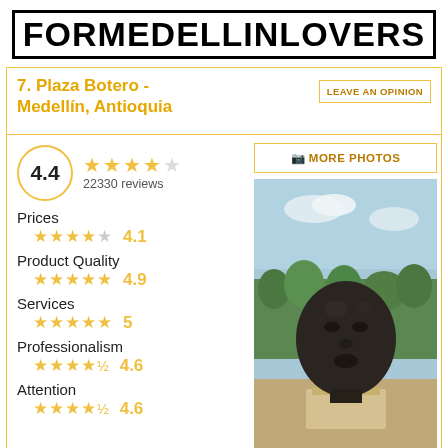FORMEDELLINLOVERS
7. Plaza Botero - Medellín, Antioquia
LEAVE AN OPINION
4.4
22330 reviews
MORE PHOTOS
[Figure (photo): A large dark bronze Botero sculpture of a round face/head on a pedestal, displayed outdoors in Plaza Botero, Medellín, with trees and blue sky in background.]
Prices
4.1
Product Quality
4.9
Services
5
Professionalism
4.6
Attention
4.6